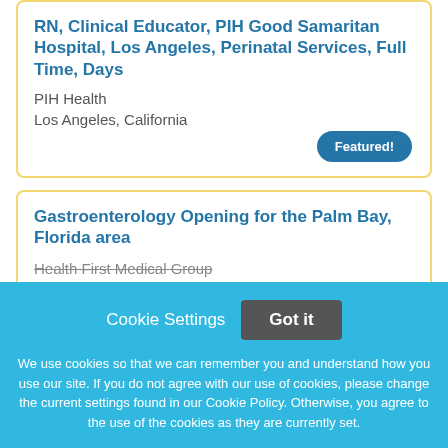RN, Clinical Educator, PIH Good Samaritan Hospital, Los Angeles, Perinatal Services, Full Time, Days
PIH Health
Los Angeles, California
Featured!
Gastroenterology Opening for the Palm Bay, Florida area
Health First Medical Group
Cookie Settings
Got it
We use cookies so that we can remember you and understand how you use our site. If you do not agree with our use of cookies, please change the current settings found in our Cookie Policy. Otherwise, you agree to the use of the cookies as they are currently set.